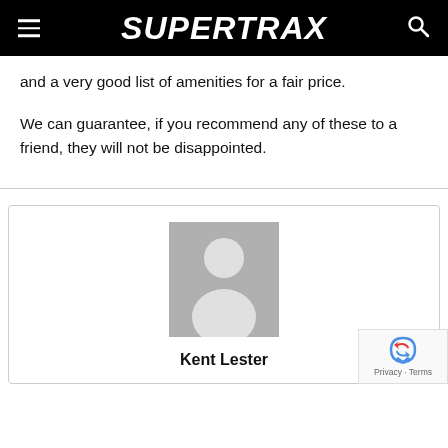SUPERTRAX
and a very good list of amenities for a fair price.
We can guarantee, if you recommend any of these to a friend, they will not be disappointed.
[Figure (photo): Generic user avatar placeholder image - grey silhouette of a person]
Kent Lester